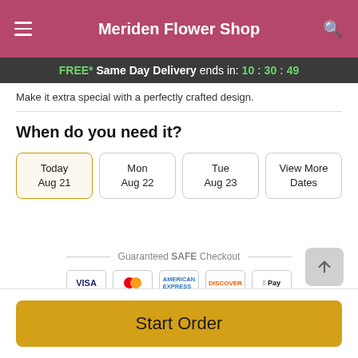Meriden Flower Shop
FREE* Same Day Delivery ends in: 10:30:49
Make it extra special with a perfectly crafted design.
When do you need it?
Today Aug 21
Mon Aug 22
Tue Aug 23
View More Dates
Guaranteed SAFE Checkout
[Figure (infographic): Payment icons: VISA, Mastercard, American Express, Discover, Apple Pay]
Start Order